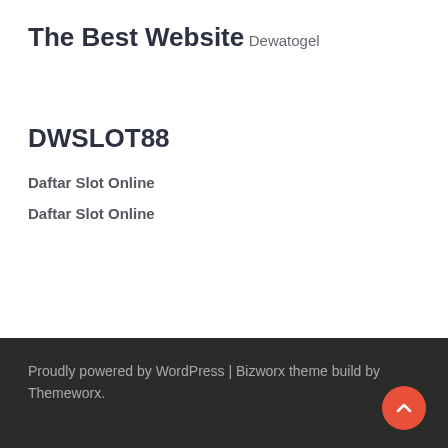The Best Website
Dewatogel
DWSLOT88
Daftar Slot Online
Daftar Slot Online
Proudly powered by WordPress | Bizworx theme build by Themeworx.